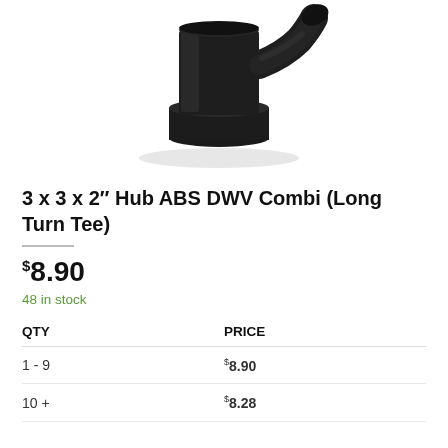[Figure (photo): Black ABS DWV Combi Long Turn Tee pipe fitting, viewed from front-left angle, showing the T-shaped connector with hub ends]
3 x 3 x 2" Hub ABS DWV Combi (Long Turn Tee)
$8.90
48 in stock
| QTY | PRICE |
| --- | --- |
| 1 - 9 | $8.90 |
| 10 + | $8.28 |